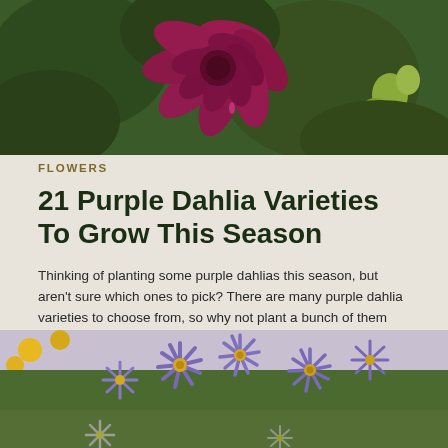[Figure (photo): Close-up of a dark magenta/crimson dahlia flower with large petals, green foliage in background]
FLOWERS
21 Purple Dahlia Varieties To Grow This Season
Thinking of planting some purple dahlias this season, but aren't sure which ones to pick? There are many purple dahlia varieties to choose from, so why not plant a bunch of them together? In this article, we take a look at 21 of our favorite purple dahlia varieties, with names and pictures of each!
[Figure (photo): Field of purple/lavender aster-like flowers with yellow centers and some yellow flowers in the background]